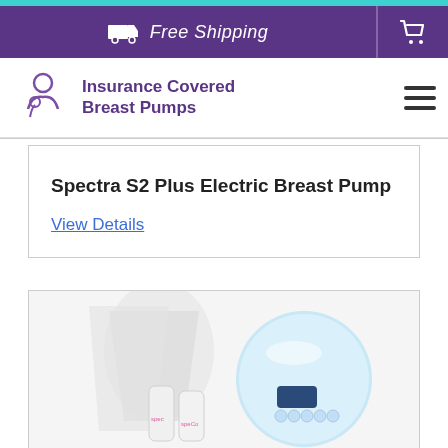Free Shipping
[Figure (logo): Insurance Covered Breast Pumps logo with stylized mother and baby icon]
Spectra S2 Plus Electric Breast Pump
View Details
[Figure (photo): Spectra S2 Plus Electric Breast Pump product photo showing the blue and white pump unit with breast shield attachments and bottles with Spectra branding]